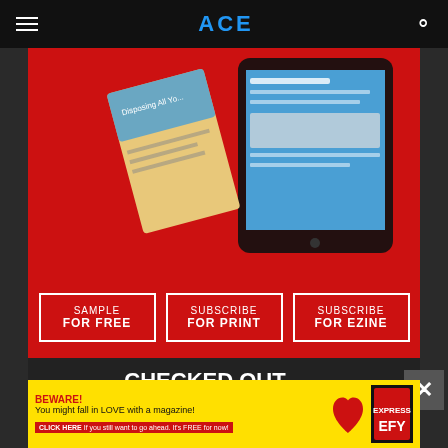ACE
[Figure (screenshot): Red background banner showing a tablet device and magazine, with three subscription buttons: SAMPLE FOR FREE, SUBSCRIBE FOR PRINT, SUBSCRIBE FOR EZINE]
CHECKED OUT EFY EXPRESS?
Free e-zine with select content and advertisements of Electronics For You.
[Figure (infographic): Yellow advertisement banner: BEWARE! You might fall in LOVE with a magazine! CLICK HERE If you still want to go ahead. It's FREE for now! With red heart and Express magazine cover.]